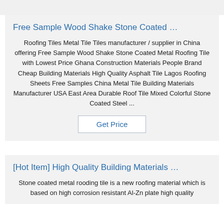Free Sample Wood Shake Stone Coated …
Roofing Tiles Metal Tile Tiles manufacturer / supplier in China offering Free Sample Wood Shake Stone Coated Metal Roofing Tile with Lowest Price Ghana Construction Materials People Brand Cheap Building Materials High Quality Asphalt Tile Lagos Roofing Sheets Free Samples China Metal Tile Building Materials Manufacturer USA East Area Durable Roof Tile Mixed Colorful Stone Coated Steel ...
Get Price
[Hot Item] High Quality Building Materials …
Stone coated metal rooding tile is a new roofing material which is based on high corrosion resistant Al-Zn plate high quality